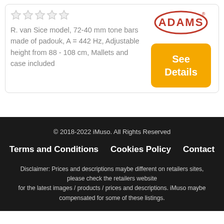R. van Sice model, 72-40 mm tone bars made of padouk, A = 442 Hz, Adjustable height from 88 - 108 cm, Mallets and case included
[Figure (logo): Adams brand logo in red oval outline]
See Details
© 2018-2022 iMuso. All Rights Reserved
Terms and Conditions   Cookies Policy   Contact
Disclaimer: Prices and descriptions maybe different on retailers sites, please check the retailers website for the latest images / products / prices and descriptions. iMuso maybe compensated for some of these listings.